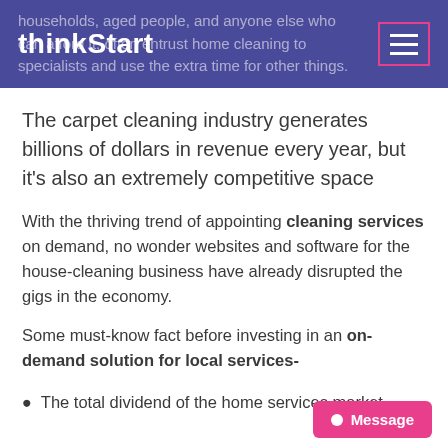thinkStart
households, aged people, and anyone else who can afford it, often entrust home cleaning to specialists and use the extra time for other things.
The carpet cleaning industry generates billions of dollars in revenue every year, but it's also an extremely competitive space
With the thriving trend of appointing cleaning services on demand, no wonder websites and software for the house-cleaning business have already disrupted the gigs in the economy.
Some must-know fact before investing in an on-demand solution for local services-
The total dividend of the home services market